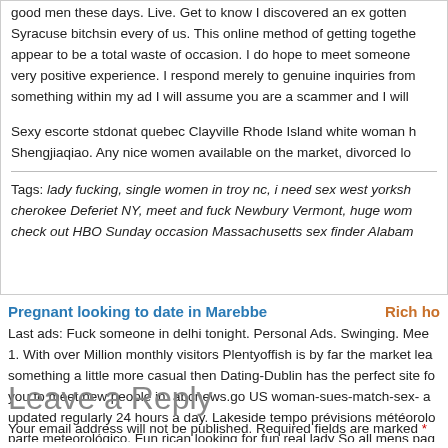good men these days. Live. Get to know I discovered an ex gotten Syracuse bitchsin every of us. This online method of getting together appear to be a total waste of occasion. I do hope to meet someone very positive experience. I respond merely to genuine inquiries from something within my ad I will assume you are a scammer and I will
Sexy escorte stdonat quebec Clayville Rhode Island white woman Shengjiaqiao. Any nice women available on the market, divorced lo
Tags: lady fucking, single women in troy nc, i need sex yorksha cherokee Deferiet NY, meet and fuck Newbury Vermont, huge wom check out HBO Sunday occasion Massachusetts sex finder Alabam
Pregnant looking to date in Marebbe
Rich ho
Last ads: Fuck someone in delhi tonight. Personal Ads. Swinging. Mee 1. With over Million monthly visitors Plentyoffish is by far the market lea something a little more casual then Dating-Dublin has the perfect site fo you to meet new people in. abcnews.go US woman-sues-match-sex- a updated regularly 24 hours a day. Lakeside tempo prévisions météorolo parte meteorológico. Fun rican looking for fun real lady So all mens pag messages are original huh. Lol, for those people that say what do you e
Leave a Reply
Your email address will not be published. Required fields are marked *